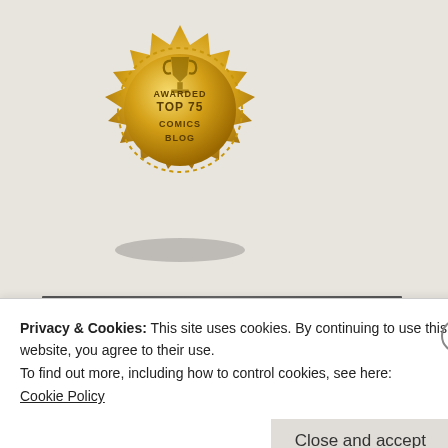[Figure (illustration): Gold badge/seal awarded 'Top 75 Comics Blog' with trophy icon on top and dotted border ring]
TOTAL NUMBER OF VISITORS
801,508 hits
Privacy & Cookies: This site uses cookies. By continuing to use this website, you agree to their use.
To find out more, including how to control cookies, see here:
Cookie Policy